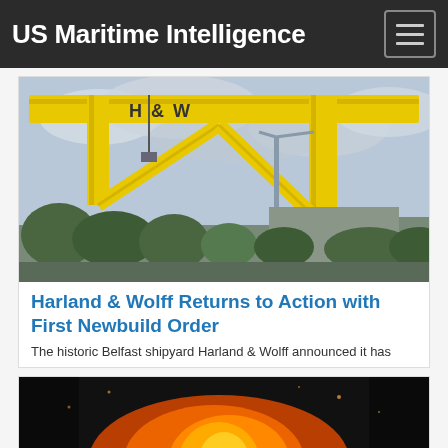US Maritime Intelligence
[Figure (photo): Harland & Wolff yellow shipyard crane marked H&W against a cloudy sky, with green trees and industrial buildings in background]
Harland & Wolff Returns to Action with First Newbuild Order
The historic Belfast shipyard Harland & Wolff announced it has
[Figure (photo): Dark nighttime photo showing bright orange fire/flames, partial view at bottom of page]